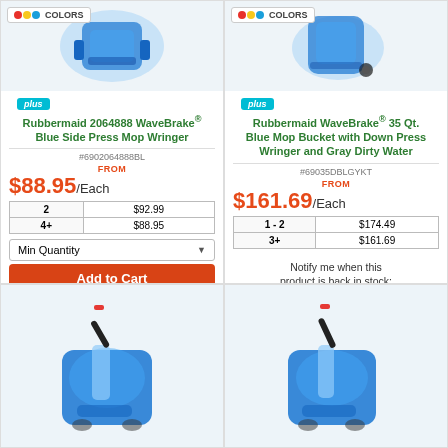[Figure (photo): Rubbermaid WaveBrake blue side press mop wringer product image (partial, top cropped)]
[Figure (photo): Rubbermaid WaveBrake blue mop bucket with down press wringer product image (partial, top cropped)]
COLORS
COLORS
plus
plus
Rubbermaid 2064888 WaveBrake® Blue Side Press Mop Wringer
Rubbermaid WaveBrake® 35 Qt. Blue Mop Bucket with Down Press Wringer and Gray Dirty Water
#6902064888BL
#69035DBLGYKT
FROM
FROM
$88.95/Each
$161.69/Each
| Qty | Price |
| --- | --- |
| 2 | $92.99 |
| 4+ | $88.95 |
| Qty | Price |
| --- | --- |
| 1 - 2 | $174.49 |
| 3+ | $161.69 |
Min Quantity
Add to Cart
Notify me when this product is back in stock:
Email Address
Send
[Figure (photo): Blue mop wringer product image bottom partial view]
[Figure (photo): Blue mop wringer product image bottom partial view, second product]